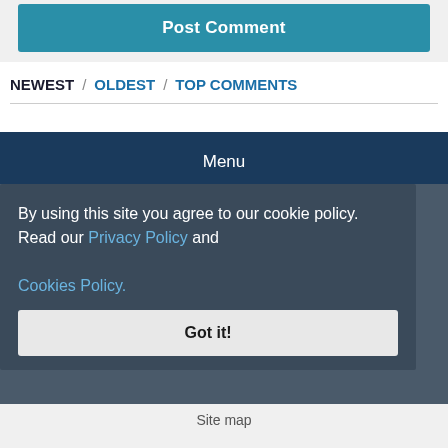Post Comment
NEWEST / OLDEST / TOP COMMENTS
Menu
Terms of Use
By using this site you agree to our cookie policy. Read our Privacy Policy and Cookies Policy.
Privacy Policy
Cookies
Advertise with us
Got it!
Manual for writing
Site map